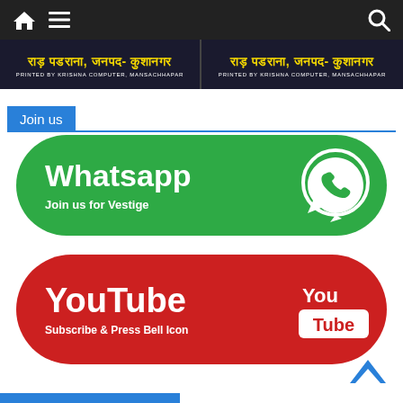Navigation bar with home, menu and search icons
[Figure (screenshot): Hindi newspaper banner showing राड़ पडराना, जनपद- कुशानगर repeated twice, with text PRINTED BY KRISHNA COMPUTER, MANSACHHAPAR]
Join us
[Figure (infographic): Green rounded button with Whatsapp in bold white text and subtitle Join us for Vestige, with WhatsApp phone icon on right]
[Figure (infographic): Red rounded button with YouTube in bold white text and subtitle Subscribe & Press Bell Icon, with YouTube logo on right]